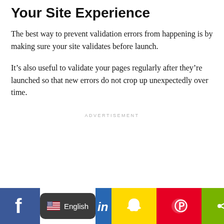Your Site Experience
The best way to prevent validation errors from happening is by making sure your site validates before launch.
It’s also useful to validate your pages regularly after they’re launched so that new errors do not crop up unexpectedly over time.
ADVERTISEMENT
[Figure (other): Social media sharing bar at the bottom with Facebook, English language selector, LinkedIn, Snapchat, Pinterest, and share icons]